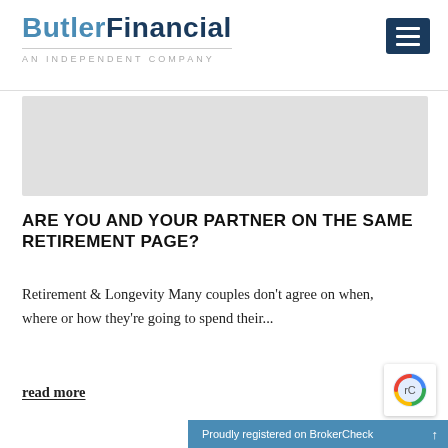Butler Financial — AN INDEPENDENT COMPANY
[Figure (photo): Gray placeholder image banner]
ARE YOU AND YOUR PARTNER ON THE SAME RETIREMENT PAGE?
Retirement & Longevity Many couples don't agree on when, where or how they're going to spend their...
read more
Proudly registered on BrokerCheck ↑